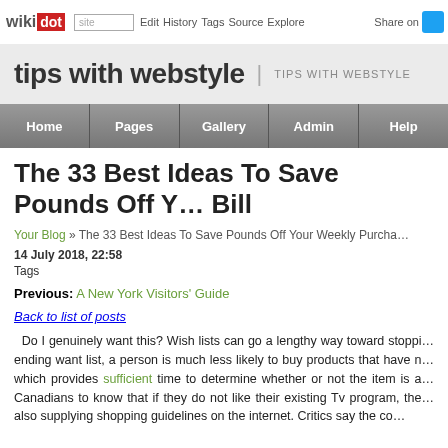wikidot | site | Edit | History | Tags | Source | Explore | Share on [Twitter]
tips with webstyle | TIPS WITH WEBSTYLE
Home  Pages  Gallery  Admin  Help
The 33 Best Ideas To Save Pounds Off Your Bill
Your Blog » The 33 Best Ideas To Save Pounds Off Your Weekly Purchase
14 July 2018, 22:58
Tags
Previous: A New York Visitors' Guide
Back to list of posts
Do I genuinely want this? Wish lists can go a lengthy way toward stopping ending want list, a person is much less likely to buy products that have n which provides sufficient time to determine whether or not the item is a Canadians to know that if they do not like their existing Tv program, the also supplying shopping guidelines on the internet. Critics say the co